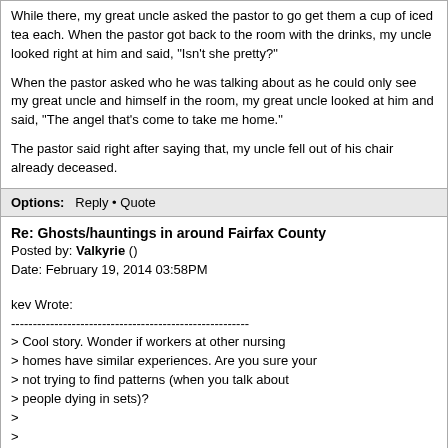While there, my great uncle asked the pastor to go get them a cup of iced tea each. When the pastor got back to the room with the drinks, my uncle looked right at him and said, "Isn't she pretty?"

When the pastor asked who he was talking about as he could only see my great uncle and himself in the room, my great uncle looked at him and said, "The angel that's come to take me home."

The pastor said right after saying that, my uncle fell out of his chair already deceased.
Options: Reply • Quote
Re: Ghosts/hauntings in around Fairfax County
Posted by: Valkyrie ()
Date: February 19, 2014 03:58PM
kev Wrote:
-------------------------------------------------------
> Cool story. Wonder if workers at other nursing
> homes have similar experiences. Are you sure your
> not trying to find patterns (when you talk about
> people dying in sets)?
>
>
> Ghost man in VA hospital Wrote:
> -------------------------------------------------------
> -----
> > So I work in a nursing home, and due to HIPAA
> > regulations, I will not include names or my
> > location. We have a "ghost" man that is seen
> > during periods of death. What I mean by periods